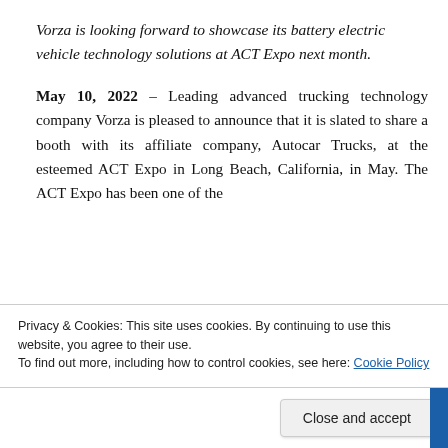Vorza is looking forward to showcase its battery electric vehicle technology solutions at ACT Expo next month.
May 10, 2022 – Leading advanced trucking technology company Vorza is pleased to announce that it is slated to share a booth with its affiliate company, Autocar Trucks, at the esteemed ACT Expo in Long Beach, California, in May. The ACT Expo has been one of the
Privacy & Cookies: This site uses cookies. By continuing to use this website, you agree to their use.
To find out more, including how to control cookies, see here: Cookie Policy
Close and accept
Autonomous Solutions, Inc. (ASI), Questar Auto